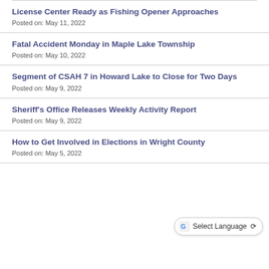License Center Ready as Fishing Opener Approaches
Posted on: May 11, 2022
Fatal Accident Monday in Maple Lake Township
Posted on: May 10, 2022
Segment of CSAH 7 in Howard Lake to Close for Two Days
Posted on: May 9, 2022
Sheriff's Office Releases Weekly Activity Report
Posted on: May 9, 2022
How to Get Involved in Elections in Wright County
Posted on: May 5, 2022